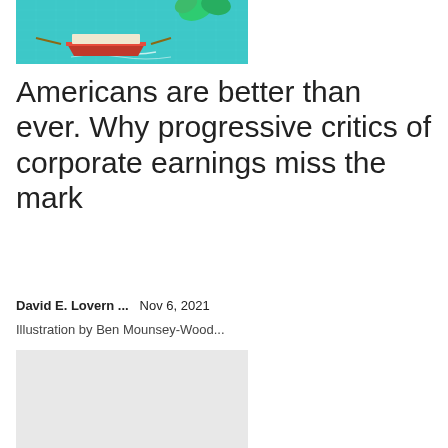[Figure (illustration): Colorful illustration showing a red and white boat on teal/turquoise water with a grid pattern background]
Americans are better than ever. Why progressive critics of corporate earnings miss the mark
David E. Lovern ...    Nov 6, 2021
Illustration by Ben Mounsey-Wood...
[Figure (illustration): Light gray placeholder image block]